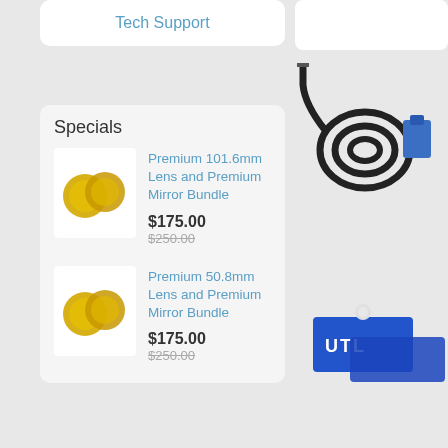Tech Support
Specials
Premium 101.6mm Lens and Premium Mirror Bundle
$175.00
$250.00
Premium 50.8mm Lens and Premium Mirror Bundle
$175.00
$250.00
[Figure (photo): Black cable coiled with blue square connector]
[Figure (photo): UTL branded blue product packaging]